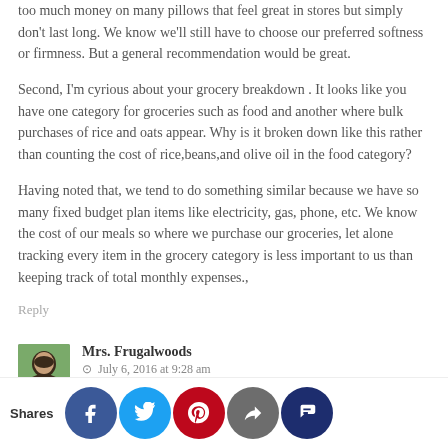too much money on many pillows that feel great in stores but simply don't last long. We know we'll still have to choose our preferred softness or firmness. But a general recommendation would be great.
Second, I'm cyrious about your grocery breakdown . It looks like you have one category for groceries such as food and another where bulk purchases of rice and oats appear. Why is it broken down like this rather than counting the cost of rice,beans,and olive oil in the food category?
Having noted that, we tend to do something similar because we have so many fixed budget plan items like electricity, gas, phone, etc. We know the cost of our meals so where we purchase our groceries, let alone tracking every item in the grocery category is less important to us than keeping track of total monthly expenses.,
Reply
Mrs. Frugalwoods  ·  July 6, 2016 at 9:28 am
Ha om, I don't think I have any advice on bed pillows–I can't remember which ones are ours. Regarding groceries, the month was an aberration since we did a bulk Costco run–